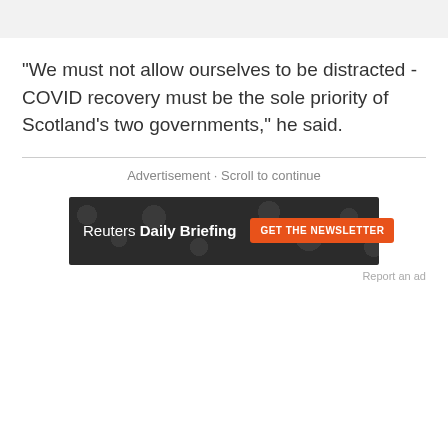"We must not allow ourselves to be distracted - COVID recovery must be the sole priority of Scotland’s two governments," he said.
Advertisement · Scroll to continue
[Figure (other): Reuters Daily Briefing advertisement banner with dark background and circular dot pattern. Text reads 'Reuters Daily Briefing' with an orange button labeled 'GET THE NEWSLETTER'.]
Report an ad